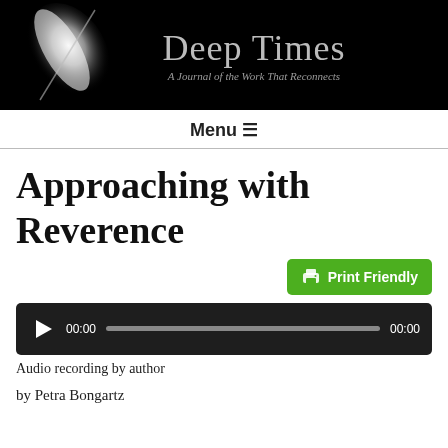[Figure (logo): Deep Times journal header banner with black background, feather image on left, and title 'Deep Times — A Journal of the Work That Reconnects' in gray text]
Menu ☰
Approaching with Reverence
[Figure (screenshot): Green 'Print Friendly' button with printer icon]
[Figure (screenshot): Audio player with play button, 00:00 time display, progress bar, and end time 00:00]
Audio recording by author
by Petra Bongartz